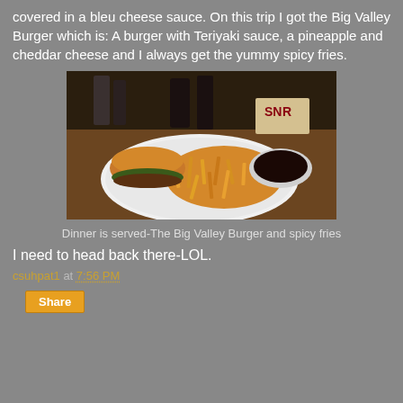covered in a bleu cheese sauce. On this trip I got the Big Valley Burger which is: A burger with Teriyaki sauce, a pineapple and cheddar cheese and I always get the yummy spicy fries.
[Figure (photo): A plate with a Big Valley Burger and spicy fries, with a small bowl of dark dipping sauce, drinks in background, on a wooden table.]
Dinner is served-The Big Valley Burger and spicy fries
I need to head back there-LOL.
csuhpat1 at 7:56 PM
Share